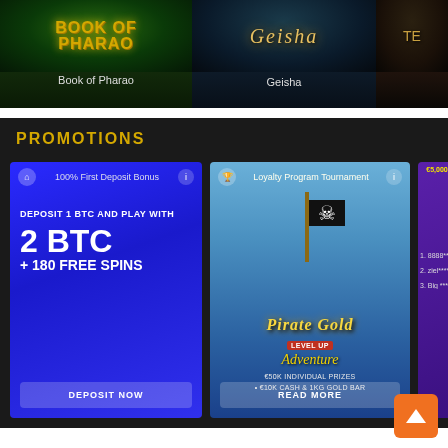[Figure (screenshot): Casino game card: Book of Pharao slot game artwork with golden title text on dark green background. Caption 'Book of Pharao' below.]
Book of Pharao
[Figure (screenshot): Casino game card: Geisha slot game artwork with stylized Geisha logo on dark blue background. Caption 'Geisha' below.]
Geisha
PROMOTIONS
[Figure (screenshot): Promotion card: Blue background showing '100% First Deposit Bonus' header. Text reads 'DEPOSIT 1 BTC AND PLAY WITH 2 BTC + 180 FREE SPINS'. Button 'DEPOSIT NOW' at bottom.]
[Figure (screenshot): Promotion card: Pirate Gold Level Up Adventure tournament. Shows pirate flag on blue sky background with golden logo text, '€50K INDIVIDUAL PRIZES - €10K CASH & 1KG GOLD BAR'. Button 'READ MORE' at bottom.]
[Figure (screenshot): Partial promotion card: Purple background showing partial prize amounts €5,000, and leaderboard entries '1. 8888****, 2. ziel****, 3. Big ****']